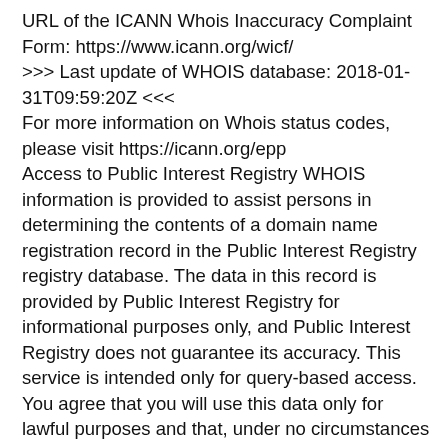URL of the ICANN Whois Inaccuracy Complaint Form: https://www.icann.org/wicf/
>>> Last update of WHOIS database: 2018-01-31T09:59:20Z <<<
For more information on Whois status codes, please visit https://icann.org/epp
Access to Public Interest Registry WHOIS information is provided to assist persons in determining the contents of a domain name registration record in the Public Interest Registry registry database. The data in this record is provided by Public Interest Registry for informational purposes only, and Public Interest Registry does not guarantee its accuracy. This service is intended only for query-based access. You agree that you will use this data only for lawful purposes and that, under no circumstances will you use this data to: (a) allow, enable, or otherwise support the transmission by e-mail, telephone, or facsimile of mass unsolicited, commercial advertising or solicitations to entities other than the data recipient&#039;s own existing customers; or (b) enable